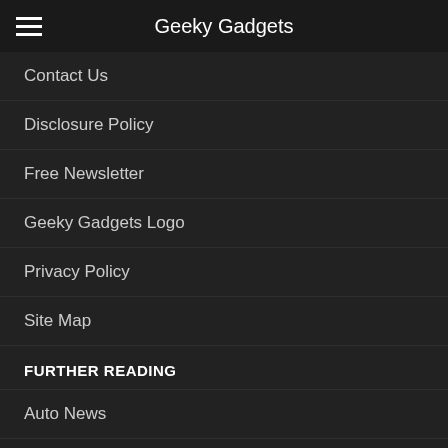Geeky Gadgets
Contact Us
Disclosure Policy
Free Newsletter
Geeky Gadgets Logo
Privacy Policy
Site Map
FURTHER READING
Auto News
Camera News